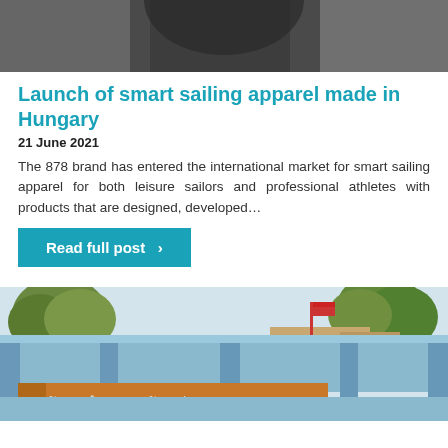[Figure (photo): Top portion of a person wearing dark clothing, cropped photo showing upper body/neck area against dark background]
Launch of smart sailing apparel made in Hungary
21 June 2021
The 878 brand has entered the international market for smart sailing apparel for both leisure sailors and professional athletes with products that are designed, developed…
Read full post  ›
[Figure (photo): Exterior photo of a building with a blue wall/gate structure and sign in Lao language reading ບໍລິສັດ ກາລໂອ ລາວ ເຄັກສປກ ຈທກ, trees in background, flag pole visible]